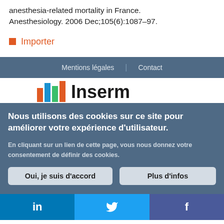anesthesia-related mortality in France. Anesthesiology. 2006 Dec;105(6):1087–97.
Importer
Mentions légales | Contact
[Figure (logo): Inserm logo partially visible — colored bar chart icon and partial 'Inserm' wordmark]
Nous utilisons des cookies sur ce site pour améliorer votre expérience d'utilisateur.
En cliquant sur un lien de cette page, vous nous donnez votre consentement de définir des cookies.
Oui, je suis d'accord
Plus d'infos
[Figure (infographic): Social media bar with LinkedIn (blue), Twitter (light blue), Facebook (dark blue) icons]